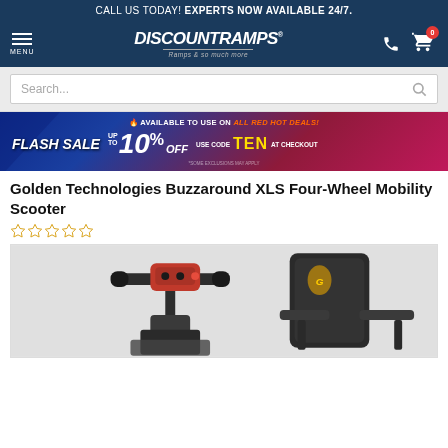CALL US TODAY! EXPERTS NOW AVAILABLE 24/7.
[Figure (logo): DiscountRamps logo with tagline 'Ramps & so much more', navigation icons including phone and shopping cart with 0 badge, and hamburger menu labeled MENU]
Search...
[Figure (infographic): Flash sale banner: AVAILABLE TO USE ON ALL RED HOT DEALS! FLASH SALE UP TO 10% OFF USE CODE TEN AT CHECKOUT. Blue to red gradient background with flame emoji.]
Golden Technologies Buzzaround XLS Four-Wheel Mobility Scooter
☆☆☆☆☆
[Figure (photo): Partial view of a black mobility scooter showing handlebars with red controls and a padded seat with armrests, against a light background.]